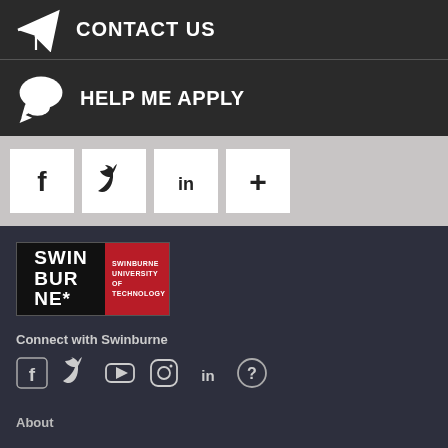CONTACT US
HELP ME APPLY
[Figure (other): Social share buttons: Facebook, Twitter, LinkedIn, and a plus (+) button on a textured light gray background]
[Figure (logo): Swinburne University of Technology logo — black left panel with SWINBURNE in white bold text, red right panel with SWINBURNE UNIVERSITY OF TECHNOLOGY text]
Connect with Swinburne
[Figure (other): Social media icons row: Facebook, Twitter, YouTube, Instagram, LinkedIn, and a question mark icon]
About